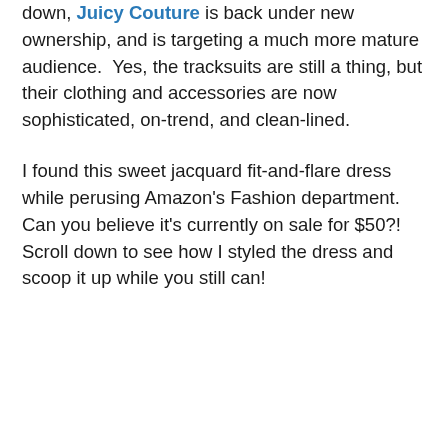down, Juicy Couture is back under new ownership, and is targeting a much more mature audience.  Yes, the tracksuits are still a thing, but their clothing and accessories are now sophisticated, on-trend, and clean-lined.
I found this sweet jacquard fit-and-flare dress while perusing Amazon's Fashion department.  Can you believe it's currently on sale for $50?! Scroll down to see how I styled the dress and scoop it up while you still can!